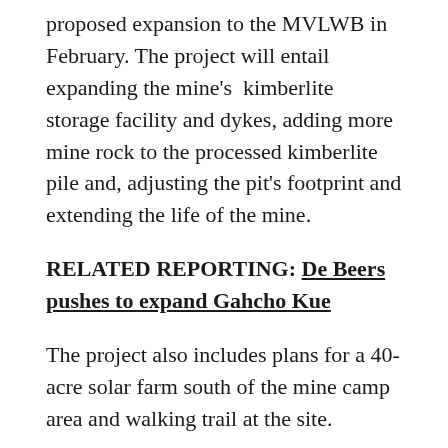proposed expansion to the MVLWB in February. The project will entail expanding the mine's kimberlite storage facility and dykes, adding more mine rock to the processed kimberlite pile and, adjusting the pit's footprint and extending the life of the mine.
RELATED REPORTING: De Beers pushes to expand Gahcho Kue
The project also includes plans for a 40-acre solar farm south of the mine camp area and walking trail at the site.
Since its initial submission to the board, De Beers withdrew on April 21 its request to extend the water